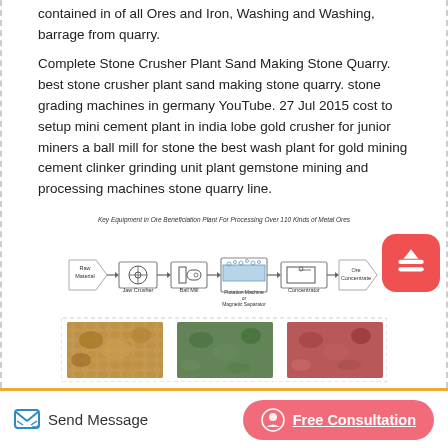contained in of all Ores and Iron, Washing and Washing, barrage from quarry.
Complete Stone Crusher Plant Sand Making Stone Quarry. best stone crusher plant sand making stone quarry. stone grading machines in germany YouTube. 27 Jul 2015 cost to setup mini cement plant in india lobe gold crusher for junior miners a ball mill for stone the best wash plant for gold mining cement clinker grinding unit plant gemstone mining and processing machines stone quarry line.
[Figure (infographic): Key Equipment in Ore Beneficiation Plant For Processing Over 110 Kinds of Metal Ores. Flowchart showing: Raw Material → Jaw Crusher → Ball Mill → Flotation Machine or Magnetic Separator → Concentrator → Ore Concentrate. Below the flowchart are three photos of different types of ore/rock materials.]
Send Message | Free Consultation